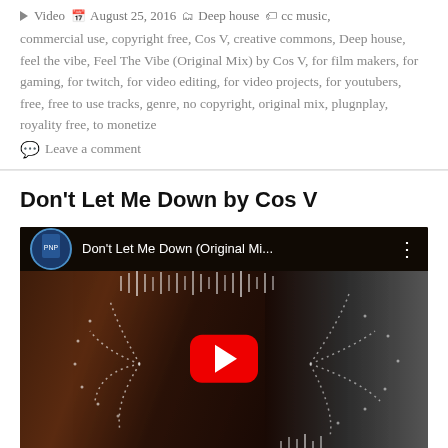▶ Video  📅 August 25, 2016  🗂 Deep house  🏷 cc music, commercial use, copyright free, Cos V, creative commons, Deep house, feel the vibe, Feel The Vibe (Original Mix) by Cos V, for film makers, for gaming, for twitch, for video editing, for video projects, for youtubers, free, free to use tracks, genre, no copyright, original mix, plugnplay, royality free, to monetize
💬 Leave a comment
Don't Let Me Down by Cos V
[Figure (screenshot): YouTube video embed showing 'Don't Let Me Down (Original Mi...' with a thumbnail of a woman with long red hair in a leather jacket sitting in a car. A circular waveform/audio visualizer overlays the image. A large red YouTube play button is centered on the thumbnail.]